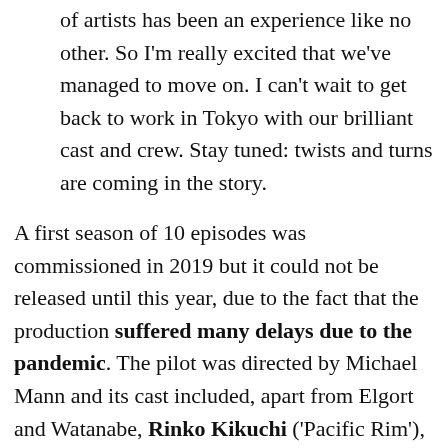of artists has been an experience like no other. So I'm really excited that we've managed to move on. I can't wait to get back to work in Tokyo with our brilliant cast and crew. Stay tuned: twists and turns are coming in the story.
A first season of 10 episodes was commissioned in 2019 but it could not be released until this year, due to the fact that the production suffered many delays due to the pandemic. The pilot was directed by Michael Mann and its cast included, apart from Elgort and Watanabe, Rinko Kikuchi ('Pacific Rim'), Rachel Keller ('Legion') and Odessa Young ('Wild Nation').
There are no premiere dates yet, but fans of 'Tokyo Vice' are already guaranteed another round of episodes of